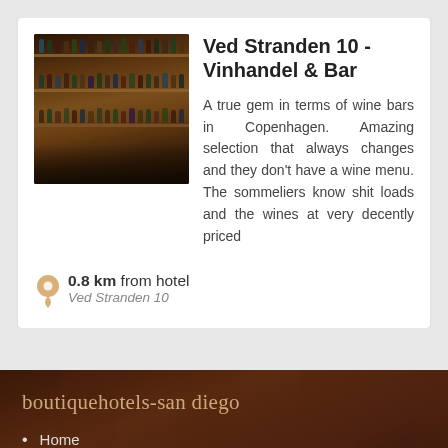[Figure (photo): Interior photo of a wine bar showing shelves with many bottles]
Ved Stranden 10 - Vinhandel & Bar
A true gem in terms of wine bars in Copenhagen. Amazing selection that always changes and they don't have a wine menu. The sommeliers know shit loads and the wines at very decently priced
0.8 km from hotel
Ved Stranden 10
boutiquehotels-san diego
Home
About
For hoteliers